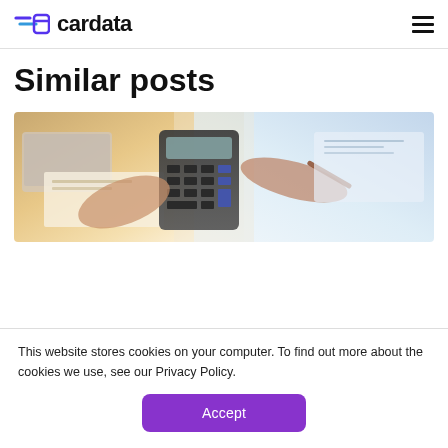cardata
Similar posts
[Figure (photo): People working at a desk with a calculator, laptop, and documents — a business/financial work scene shot from above at an angle.]
This website stores cookies on your computer. To find out more about the cookies we use, see our Privacy Policy.
Accept